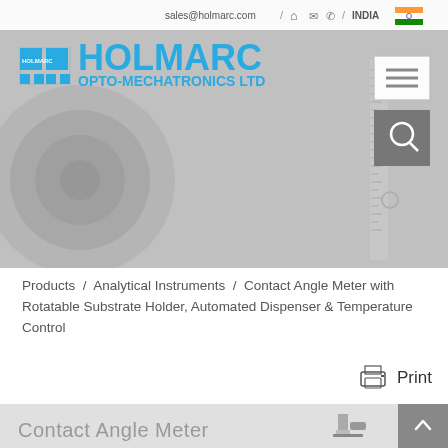sales@holmarc.com / Home / Mail / Phone / INDIA
[Figure (screenshot): Holmarc Opto-Mechatronics Ltd website header with logo on a grey optics/lens background, navigation menu button and search button on the right]
Products / Analytical Instruments / Contact Angle Meter with Rotatable Substrate Holder, Automated Dispenser & Temperature Control
Print
Contact Angle Meter